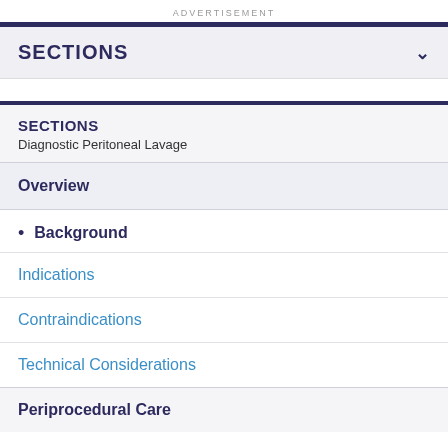ADVERTISEMENT
SECTIONS
SECTIONS
Diagnostic Peritoneal Lavage
Overview
Background
Indications
Contraindications
Technical Considerations
Periprocedural Care